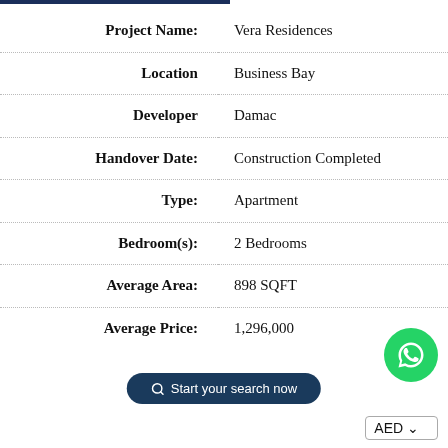| Field | Value |
| --- | --- |
| Project Name: | Vera Residences |
| Location | Business Bay |
| Developer | Damac |
| Handover Date: | Construction Completed |
| Type: | Apartment |
| Bedroom(s): | 2 Bedrooms |
| Average Area: | 898 SQFT |
| Average Price: | 1,296,000 |
Start your search now
AED